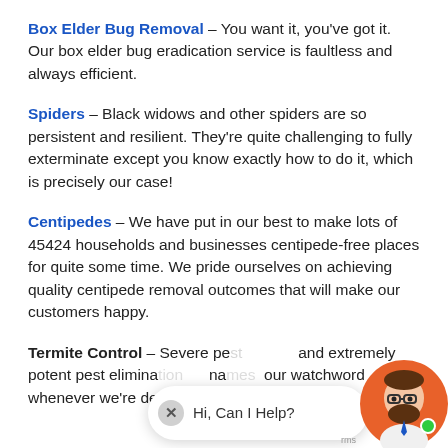Box Elder Bug Removal – You want it, you've got it. Our box elder bug eradication service is faultless and always efficient.
Spiders – Black widows and other spiders are so persistent and resilient. They're quite challenging to fully exterminate except you know exactly how to do it, which is precisely our case!
Centipedes – We have put in our best to make lots of 45424 households and businesses centipede-free places for quite some time. We pride ourselves on achieving quality centipede removal outcomes that will make our customers happy.
Termite Control – Severe pest [obscured] and extremely potent pest elimina[obscured] na[obscured] our watchword whenever we're deploying our termite